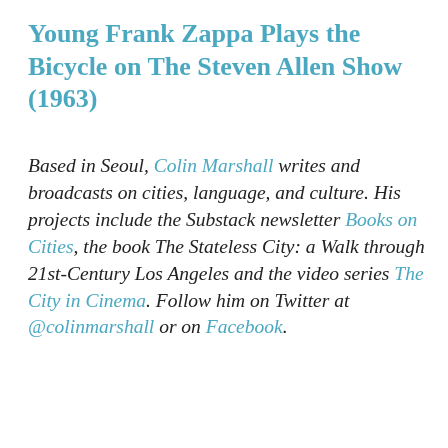Young Frank Zappa Plays the Bicycle on The Steven Allen Show (1963)
Based in Seoul, Colin Marshall writes and broadcasts on cities, language, and culture. His projects include the Substack newsletter Books on Cities, the book The Stateless City: a Walk through 21st-Century Los Angeles and the video series The City in Cinema. Follow him on Twitter at @colinmarshall or on Facebook.
Open Culture (openculture.com) and our trusted partners use technology such as cookies on our website to personalise ads, support social media features, and analyze our traffic. Please click below to consent to the use of this technology while browsing our site.
Cookie settings  ACCEPT